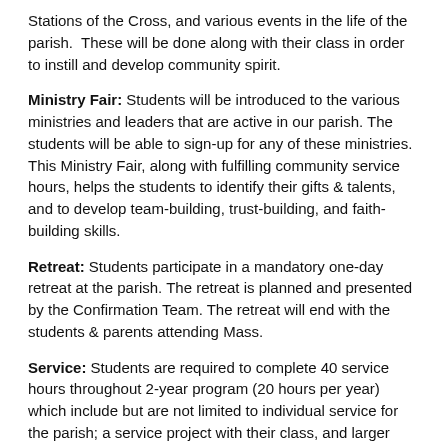Stations of the Cross, and various events in the life of the parish. These will be done along with their class in order to instill and develop community spirit.
Ministry Fair: Students will be introduced to the various ministries and leaders that are active in our parish. The students will be able to sign-up for any of these ministries. This Ministry Fair, along with fulfilling community service hours, helps the students to identify their gifts & talents, and to develop team-building, trust-building, and faith-building skills.
Retreat: Students participate in a mandatory one-day retreat at the parish. The retreat is planned and presented by the Confirmation Team. The retreat will end with the students & parents attending Mass.
Service: Students are required to complete 40 service hours throughout 2-year program (20 hours per year) which include but are not limited to individual service for the parish; a service project with their class, and larger service projects with the whole Confirmation Program, which benefits the wider community. (The students will be asked to participate in community service projects both on-site & off-site and permission slips will be sent home well in advance.)